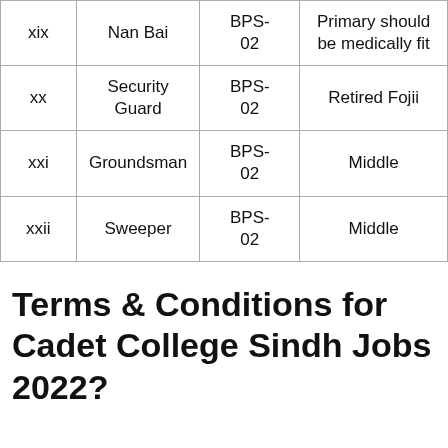|  | Post | BPS | Qualification |
| --- | --- | --- | --- |
| xix | Nan Bai | BPS-02 | Primary should be medically fit |
| xx | Security Guard | BPS-02 | Retired Fojii |
| xxi | Groundsman | BPS-02 | Middle |
| xxii | Sweeper | BPS-02 | Middle |
Terms & Conditions for Cadet College Sindh Jobs 2022?